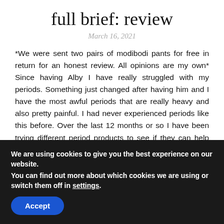full brief: review
March 16, 2021
*We were sent two pairs of modibodi pants for free in return for an honest review. All opinions are my own* Since having Alby I have really struggled with my periods. Something just changed after having him and I have the most awful periods that are really heavy and also pretty painful. I had never experienced periods like this before. Over the last 12 months or so I have been trying different period products to see if they can help me. Not just
We are using cookies to give you the best experience on our website.
You can find out more about which cookies we are using or switch them off in settings.
Accept